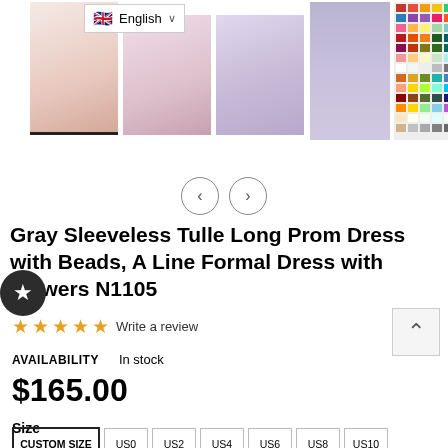[Figure (screenshot): Product page for gray prom dress with thumbnail images, navigation arrows, language selector, product title, rating stars, availability, price, and size selector]
Gray Sleeveless Tulle Long Prom Dress with Beads, A Line Formal Dress with Flowers N1105
Write a review
AVAILABILITY    In stock
$165.00
Size
CUSTOM SIZE   US0   US2   US4   US6   US8   US10